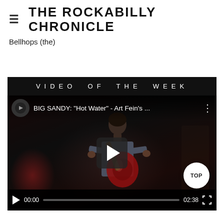THE ROCKABILLY CHRONICLE
Bellhops (the)
VIDEO OF THE WEEK
[Figure (screenshot): Embedded YouTube video player showing 'BIG SANDY: "Hot Water" - Art Fein's ...' with a guitarist performing on a dark stage. Video is paused showing a play button. Controls show 00:00 / 02:38. A 'TOP' button appears in the lower right corner of the video.]